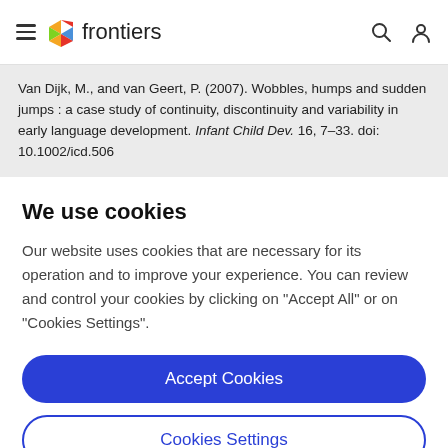frontiers
Van Dijk, M., and van Geert, P. (2007). Wobbles, humps and sudden jumps : a case study of continuity, discontinuity and variability in early language development. Infant Child Dev. 16, 7–33. doi: 10.1002/icd.506
We use cookies
Our website uses cookies that are necessary for its operation and to improve your experience. You can review and control your cookies by clicking on "Accept All" or on "Cookies Settings".
Accept Cookies
Cookies Settings